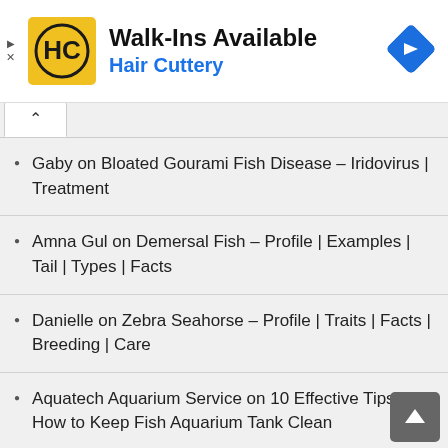[Figure (infographic): Advertisement banner for Hair Cuttery showing logo, 'Walk-Ins Available' text, and navigation icon]
Gaby on Bloated Gourami Fish Disease – Iridovirus | Treatment
Amna Gul on Demersal Fish – Profile | Examples | Tail | Types | Facts
Danielle on Zebra Seahorse – Profile | Traits | Facts | Breeding | Care
Aquatech Aquarium Service on 10 Effective Tips on How to Keep Fish Aquarium Tank Clean